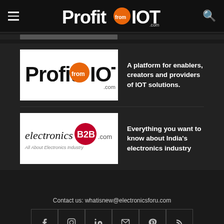ProfitfromIOT.com
[Figure (logo): ProfitfromIOT.com logo - white text with orange 'from' circle on dark background]
A platform for enablers, creators and providers of IOT solutions.
[Figure (logo): electronicsB2B.com logo - black text with pink B2B circle, tagline 'All About Electronics Industry']
Everything you want to know about India's electronics industry
Contact us: whatisnew@electronicsforu.com
[Figure (infographic): Social media icons row: Facebook, Instagram, LinkedIn, Email, Pinterest, RSS]
[Figure (infographic): Yellow advertisement banner: BEWARE! You might fall in LO - with heart and magazine image]